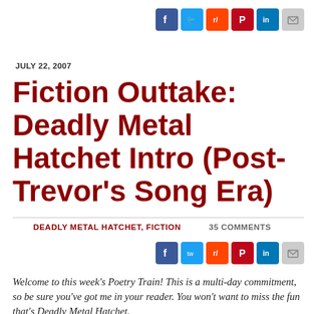[Figure (other): Social media share icons: Facebook, Twitter, Reddit, Pinterest, LinkedIn, Email (top right)]
JULY 22, 2007
Fiction Outtake: Deadly Metal Hatchet Intro (Post-Trevor's Song Era)
DEADLY METAL HATCHET, FICTION     35 COMMENTS
[Figure (other): Social media share icons: Facebook, Twitter, Reddit, Pinterest, LinkedIn, Email (mid right)]
Welcome to this week's Poetry Train! This is a multi-day commitment, so be sure you've got me in your reader. You won't want to miss the fun that's Deadly Metal Hatchet.